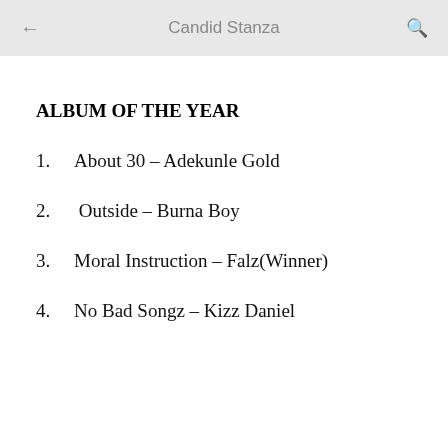Candid Stanza
ALBUM OF THE YEAR
1.    About 30 – Adekunle Gold
2.     Outside – Burna Boy
3.    Moral Instruction – Falz(Winner)
4.    No Bad Songz – Kizz Daniel